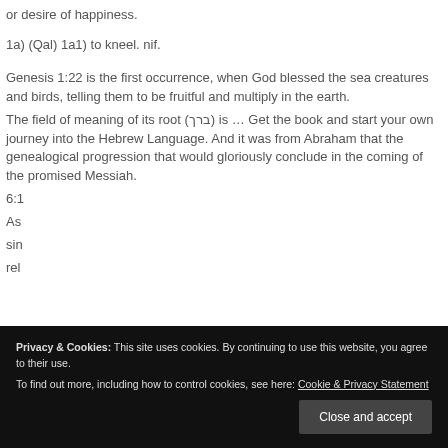or desire of happiness.
1a) (Qal) 1a1) to kneel. nif.
Genesis 1:22 is the first occurrence, when God blessed the sea creatures and birds, telling them to be fruitful and multiply in the earth.
The field of meaning of its root (ברך) is … Get the book and start your own journey into the Hebrew Language. And it was from Abraham that the genealogical progression that would gloriously conclude in the coming of the promised Messiah.
6:1 As
sin
rel
Privacy & Cookies: This site uses cookies. By continuing to use this website, you agree to their use. To find out more, including how to control cookies, see here: Cookie & Privacy Statement
Close and accept